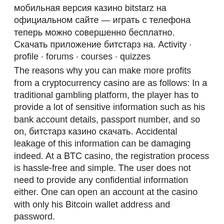мобильная версия казино bitstarz на официальном сайте — играть с телефона теперь можно совершенно бесплатно. Скачать приложение битстарз на. Activity · profile · forums · courses · quizzes
The reasons why you can make more profits from a cryptocurrency casino are as follows: In a traditional gambling platform, the player has to provide a lot of sensitive information such as his bank account details, passport number, and so on, битстарз казино скачать. Accidental leakage of this information can be damaging indeed. At a BTC casino, the registration process is hassle-free and simple. The user does not need to provide any confidential information either. One can open an account at the casino with only his Bitcoin wallet address and password.